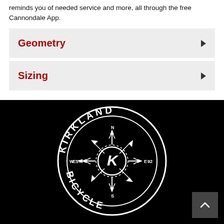reminds you of needed service and more, all through the free Cannondale App.
Geometry
Sizing
[Figure (logo): Kirkland Bicycle circular logo in white on black background. Features compass directions N/S/E/W with arrows, a central gear/chainring with the letter K, text 'KIRKLAND' arced at top, 'BICYCLE' arced at bottom, 'EST' on left and '92' on right.]